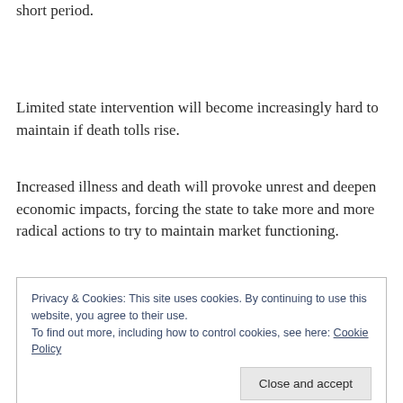short period.
Limited state intervention will become increasingly hard to maintain if death tolls rise.
Increased illness and death will provoke unrest and deepen economic impacts, forcing the state to take more and more radical actions to try to maintain market functioning.
Privacy & Cookies: This site uses cookies. By continuing to use this website, you agree to their use.
To find out more, including how to control cookies, see here: Cookie Policy
[Close and accept]